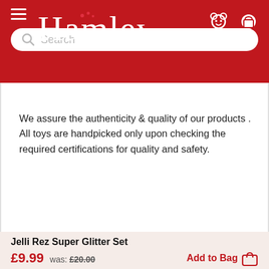[Figure (screenshot): Hamleys website header with red background, hamburger menu, Hamleys script logo, bear and bag icons, and a search bar below]
We assure the authenticity & quality of our products . All toys are handpicked only upon checking the required certifications for quality and safety.
Jelli Rez Super Glitter Set
£9.99  was: £20.00  Add to Bag